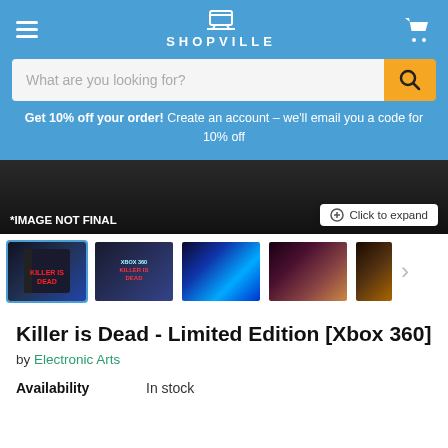SHOPVILLE
What are you looking for?
Get 10% off your order! Create an account – we'll email you a code for 10% off
[Figure (screenshot): Product main image area with '*IMAGE NOT FINAL' label and 'Click to expand' button]
[Figure (screenshot): Row of product thumbnails: game box cover, game cover Xbox 360, action scene blue, monster closeup, warm-toned scene; with right arrow]
Killer is Dead - Limited Edition [Xbox 360]
by Electronic Arts
Availability   In stock